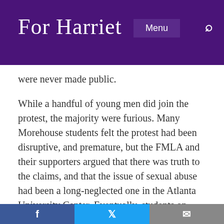For Harriet
were never made public.
While a handful of young men did join the protest, the majority were furious. Many Morehouse students felt the protest had been disruptive, and premature, but the FMLA and their supporters argued that there was truth to the claims, and that the issue of sexual abuse had been a long-neglected one in the Atlanta University Center. Eventually, students on both sides decided to host a series
Facebook Twitter Email